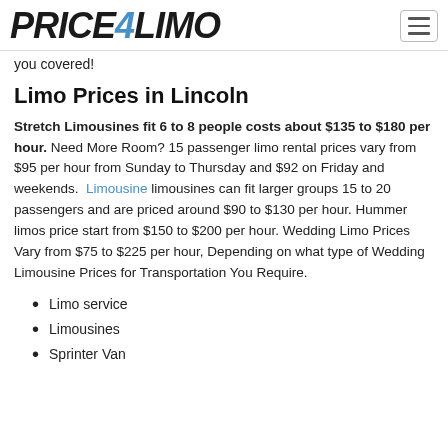PRICE4LIMO
you covered!
Limo Prices in Lincoln
Stretch Limousines fit 6 to 8 people costs about $135 to $180 per hour. Need More Room? 15 passenger limo rental prices vary from $95 per hour from Sunday to Thursday and $92 on Friday and weekends. Limousine limousines can fit larger groups 15 to 20 passengers and are priced around $90 to $130 per hour. Hummer limos price start from $150 to $200 per hour. Wedding Limo Prices Vary from $75 to $225 per hour, Depending on what type of Wedding Limousine Prices for Transportation You Require.
Limo service
Limousines
Sprinter Van